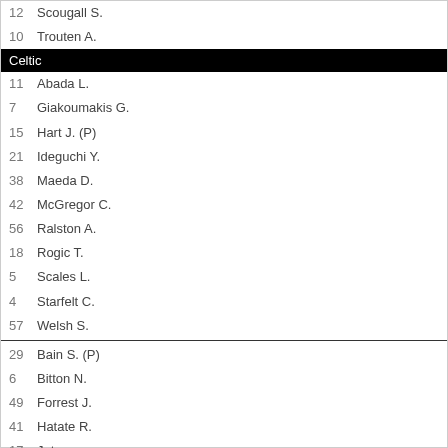12  Scougall S.
10  Trouten A.
Celtic
11  Abada L.
7   Giakoumakis G.
15  Hart J. (P)
21  Ideguchi Y.
38  Maeda D.
42  McGregor C.
56  Ralston A.
18  Rogic T.
5   Scales L.
4   Starfelt C.
57  Welsh S.
29  Bain S. (P)
6   Bitton N.
49  Forrest J.
41  Hatate R.
17  Jota
2   Jullien C.
88  Juranovic J.
16  McCarthy J.
3   Taylor G.
Cote
26.00 | 10.00 | 1.05
Cote oferite de Unibet - Pariază acum!